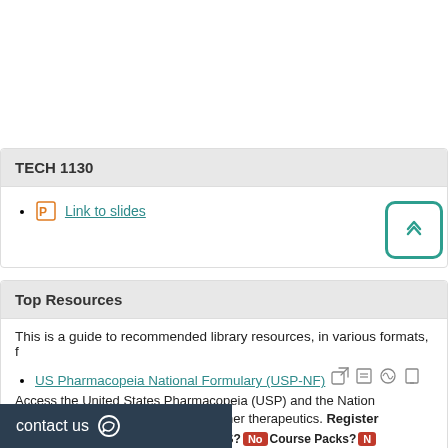TECH 1130
Link to slides
Top Resources
This is a guide to recommended library resources, in various formats, f…
US Pharmacopeia National Formulary (USP-NF)
Access the United States Pharmacopeia (USP) and the National… devices, dietary supplements, and other therapeutics. Register…
License Details: E-Reserve? No CMS? No Course Packs? N…
contact us